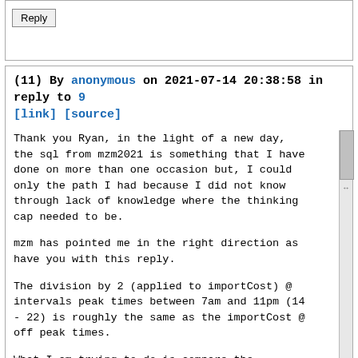Reply
(11) By anonymous on 2021-07-14 20:38:58 in reply to 9 [link] [source]
Thank you Ryan, in the light of a new day, the sql from mzm2021 is something that I have done on more than one occasion but, I could only the path I had because I did not know through lack of knowledge where the thinking cap needed to be.

mzm has pointed me in the right direction as have you with this reply.

The division by 2 (applied to importCost) @ intervals peak times between 7am and 11pm (14 - 22) is roughly the same as the importCost @ off peak times.

What I am trying to do is compare the reduction in cost of the total 10 hour period of peak import power due to government change in regulation of peak and off peak times here